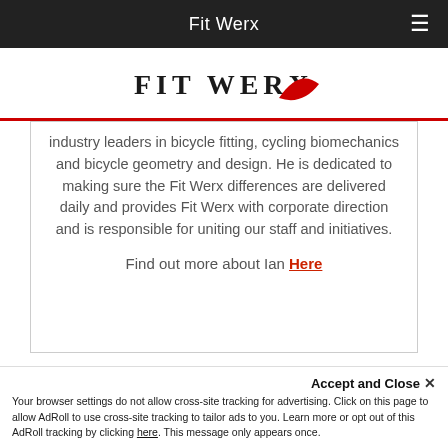Fit Werx
[Figure (logo): Fit Werx logo with text FIT WERX and red swoosh]
industry leaders in bicycle fitting, cycling biomechanics and bicycle geometry and design. He is dedicated to making sure the Fit Werx differences are delivered daily and provides Fit Werx with corporate direction and is responsible for uniting our staff and initiatives.
Find out more about Ian Here
Accept and Close ×
Your browser settings do not allow cross-site tracking for advertising. Click on this page to allow AdRoll to use cross-site tracking to tailor ads to you. Learn more or opt out of this AdRoll tracking by clicking here. This message only appears once.